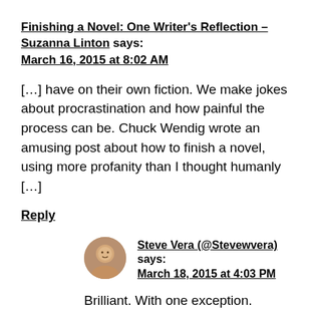Finishing a Novel: One Writer's Reflection – Suzanna Linton says:
March 16, 2015 at 8:02 AM
[…] have on their own fiction. We make jokes about procrastination and how painful the process can be. Chuck Wendig wrote an amusing post about how to finish a novel, using more profanity than I thought humanly […]
Reply
Steve Vera (@Stevewvera) says:
March 18, 2015 at 4:03 PM
Brilliant. With one exception. Xenomorph invasion. Then we should get an extra day